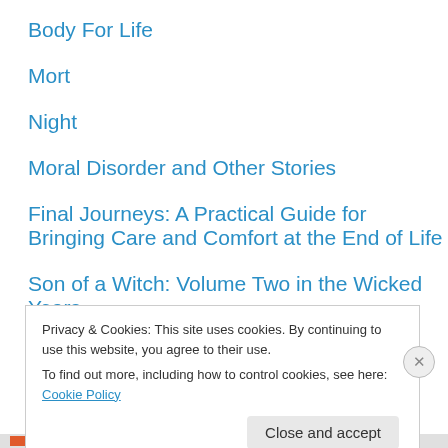Body For Life
Mort
Night
Moral Disorder and Other Stories
Final Journeys: A Practical Guide for Bringing Care and Comfort at the End of Life
Son of a Witch: Volume Two in the Wicked Years
Privacy & Cookies: This site uses cookies. By continuing to use this website, you agree to their use.
To find out more, including how to control cookies, see here: Cookie Policy